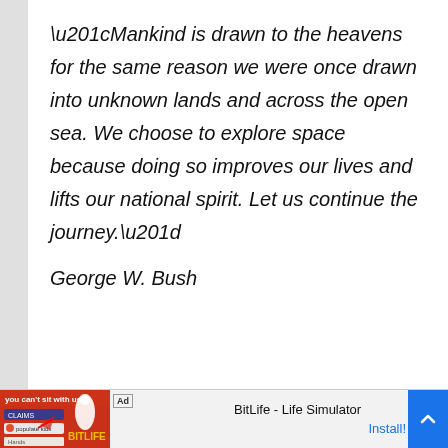“Mankind is drawn to the heavens for the same reason we were once drawn into unknown lands and across the open sea. We choose to explore space because doing so improves our lives and lifts our national spirit. Let us continue the journey.”
George W. Bush
[Figure (other): Mobile advertisement banner for BitLife - Life Simulator app with Ad label and Install button]